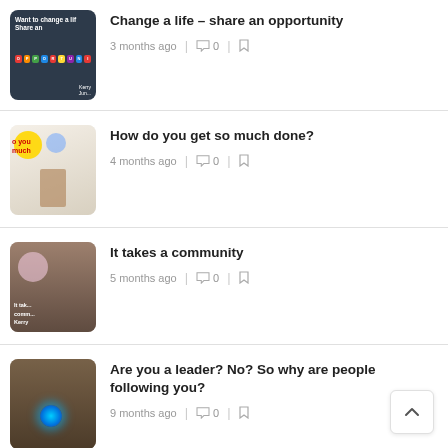[Figure (screenshot): Thumbnail image: dark background with text 'Want to change a lif Share an' and colorful letter tiles]
Change a life – share an opportunity
3 months ago | 💬 0 | 🔖
[Figure (photo): Thumbnail image: person presenting at a whiteboard with colorful drawings and lightbulb, red text 'o you much']
How do you get so much done?
4 months ago | 💬 0 | 🔖
[Figure (photo): Thumbnail image: audience at a community event with text overlay 'It take commu Kerry']
It takes a community
5 months ago | 💬 0 | 🔖
[Figure (photo): Thumbnail image: person holding a device with blue light glowing]
Are you a leader? No? So why are people following you?
9 months ago | 💬 0 | 🔖